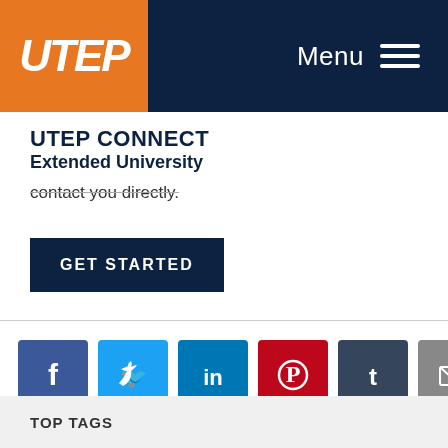UTEP | Menu
UTEP CONNECT
Extended University
contact you directly.
GET STARTED
[Figure (infographic): Social media sharing icons: Facebook, Twitter, LinkedIn, Pinterest, Tumblr, Email]
TOP TAGS